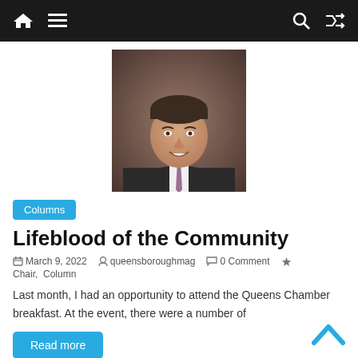Navigation bar with home, menu, search, and shuffle icons
[Figure (photo): Portrait photo of a middle-aged man in a dark suit with a light shirt and patterned tie, smiling, against a muted brown background]
Columns
Lifeblood of the Community
March 9, 2022  queensboroughmag  0 Comment  Chair, Column
Last month, I had an opportunity to attend the Queens Chamber breakfast. At the event, there were a number of
Read more